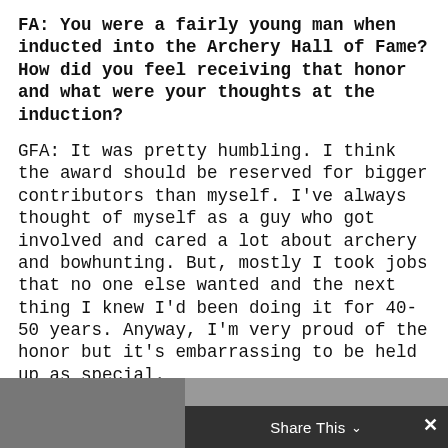FA: You were a fairly young man when inducted into the Archery Hall of Fame? How did you feel receiving that honor and what were your thoughts at the induction?
GFA: It was pretty humbling. I think the award should be reserved for bigger contributors than myself. I've always thought of myself as a guy who got involved and cared a lot about archery and bowhunting. But, mostly I took jobs that no one else wanted and the next thing I knew I'd been doing it for 40-50 years. Anyway, I'm very proud of the honor but it's embarrassing to be held up as special.
[Figure (photo): Bottom portion of page showing a photo partially visible with a dark share bar overlay reading 'Share This' with a chevron and an X close button]